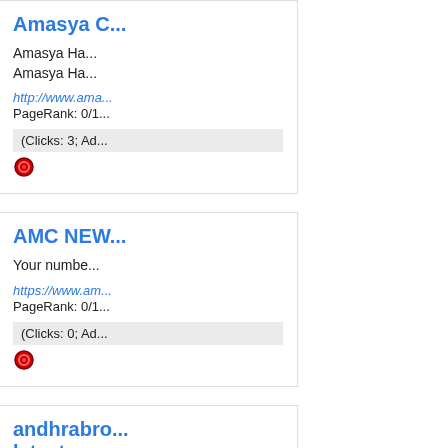Amasya C...
Amasya Ha...
Amasya Ha...
http://www.ama...
PageRank: 0/1...
(Clicks: 3; Ad...
AMC NEW...
Your numbe...
https://www.am...
PageRank: 0/1...
(Clicks: 0; Ad...
andhrabro... latest new...
andhrobroa...